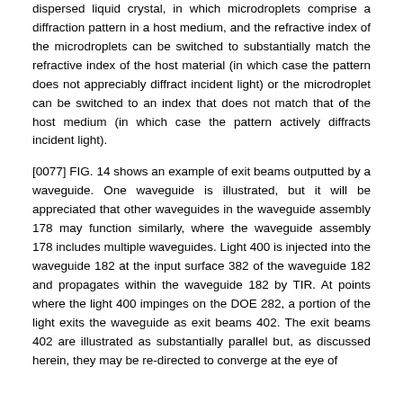dispersed liquid crystal, in which microdroplets comprise a diffraction pattern in a host medium, and the refractive index of the microdroplets can be switched to substantially match the refractive index of the host material (in which case the pattern does not appreciably diffract incident light) or the microdroplet can be switched to an index that does not match that of the host medium (in which case the pattern actively diffracts incident light).
[0077] FIG. 14 shows an example of exit beams outputted by a waveguide. One waveguide is illustrated, but it will be appreciated that other waveguides in the waveguide assembly 178 may function similarly, where the waveguide assembly 178 includes multiple waveguides. Light 400 is injected into the waveguide 182 at the input surface 382 of the waveguide 182 and propagates within the waveguide 182 by TIR. At points where the light 400 impinges on the DOE 282, a portion of the light exits the waveguide as exit beams 402. The exit beams 402 are illustrated as substantially parallel but, as discussed herein, they may be re-directed to converge at the eye of